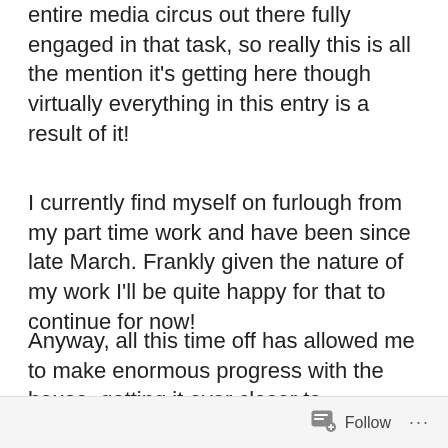entire media circus out there fully engaged in that task, so really this is all the mention it's getting here though virtually everything in this entry is a result of it!
I currently find myself on furlough from my part time work and have been since late March. Frankly given the nature of my work I'll be quite happy for that to continue for now!
Anyway, all this time off has allowed me to make enormous progress with the house, getting it ever closer to readiness for sale and hopefully a quick return to my homeland when restrictions do finally ease. The garden is now completed as
Follow ···